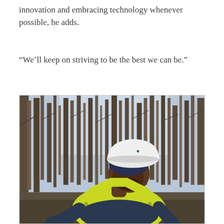innovation and embracing technology whenever possible, he adds.
“We’ll keep on striving to be the best we can be.”
[Figure (photo): A worker wearing a white hard hat with a company logo and a yellow high-visibility safety vest, bending forward in a wooded area with bare trees in the background. The worker wears a dark navy long-sleeve shirt underneath the vest.]